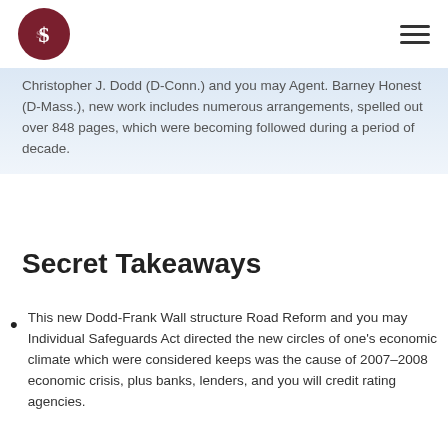[Logo: S$ symbol in dark red circle] [Hamburger menu icon]
Christopher J. Dodd (D-Conn.) and you may Agent. Barney Honest (D-Mass.), new work includes numerous arrangements, spelled out over 848 pages, which were becoming followed during a period of decade.
Secret Takeaways
This new Dodd-Frank Wall structure Road Reform and you may Individual Safeguards Act directed the new circles of one's economic climate which were considered keeps was the cause of 2007–2008 economic crisis, plus banks, lenders, and you will credit rating agencies.